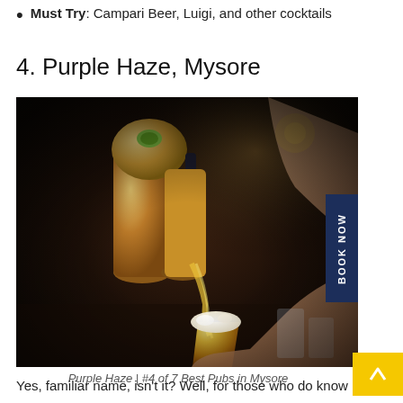Must Try: Campari Beer, Luigi, and other cocktails
4. Purple Haze, Mysore
[Figure (photo): A bartender pouring draft beer from copper beer taps into a glass, with foam forming at the top. The background shows a bar setting with bottles and glassware.]
Purple Haze | #4 of 7 Best Pubs in Mysore
Yes, familiar name, isn't it? Well, for those who do know